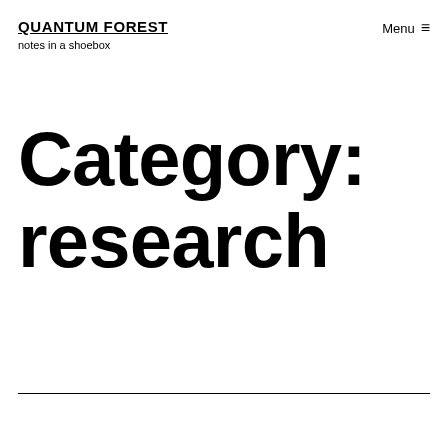QUANTUM FOREST
notes in a shoebox
Menu ≡
Category: research